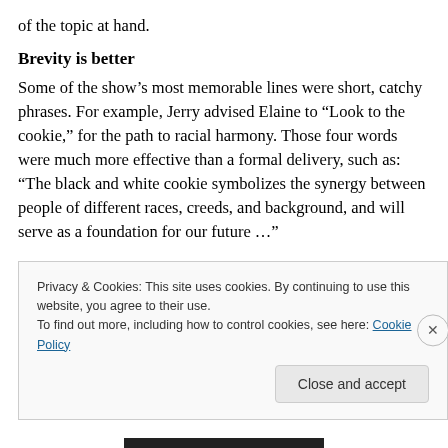of the topic at hand.
Brevity is better
Some of the show’s most memorable lines were short, catchy phrases. For example, Jerry advised Elaine to “Look to the cookie,” for the path to racial harmony. Those four words were much more effective than a formal delivery, such as: “The black and white cookie symbolizes the synergy between people of different races, creeds, and background, and will serve as a foundation for our future …”
Privacy & Cookies: This site uses cookies. By continuing to use this website, you agree to their use.
To find out more, including how to control cookies, see here: Cookie Policy